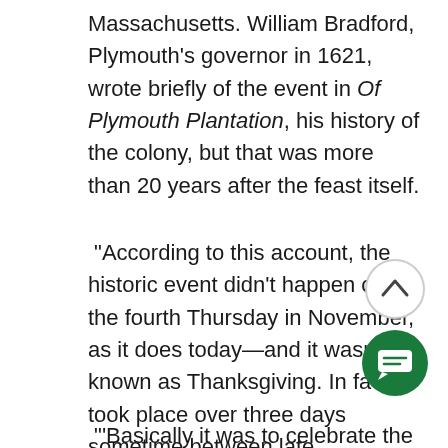Massachusetts. William Bradford, Plymouth's governor in 1621, wrote briefly of the event in Of Plymouth Plantation, his history of the colony, but that was more than 20 years after the feast itself.
“According to this account, the historic event didn’t happen on the fourth Thursday in November, as it does today—and it wasn’t known as Thanksgiving. In fact, it took place over three days sometime between late September and mid-November, 1621, and was considered a harvest celebration.
“‘Basically it was to celebrate the
[Figure (illustration): A circular scroll-up button (light gray border, white background, dark upward chevron arrow) in the bottom-right area of the page, and below it a dark green circular chat/message button with a white speech-bubble icon.]